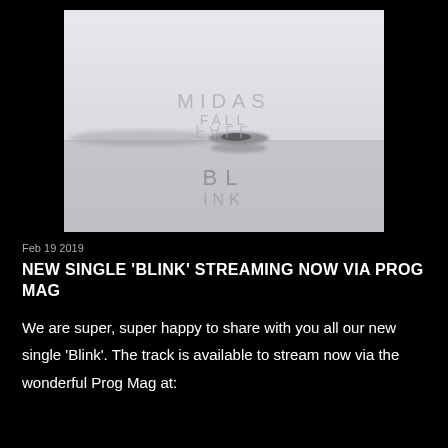[Figure (photo): Album art for Midas Fall - misty minimalist landscape of a lake with reflections. Text 'MIDAS FALL' appears near center and 'BL' (partially visible 'BLINK') at bottom. The image is pale grey/white with soft foggy atmosphere.]
Feb 19 2019
NEW SINGLE 'BLINK' STREAMING NOW VIA PROG MAG
We are super, super happy to share with you all our new single 'Blink'. The track is available to stream now via the wonderful Prog Mag at: